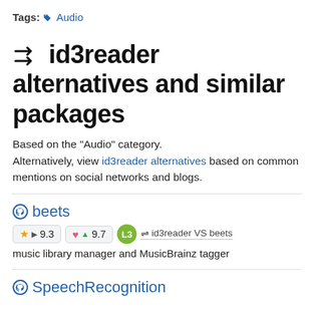Tags: 🏷 Audio
⇄ id3reader alternatives and similar packages
Based on the "Audio" category.
Alternatively, view id3reader alternatives based on common mentions on social networks and blogs.
beets
★ ▶ 9.3   ♥ ▲ 9.7   L3   ⇌ id3reader VS beets
music library manager and MusicBrainz tagger
SpeechRecognition